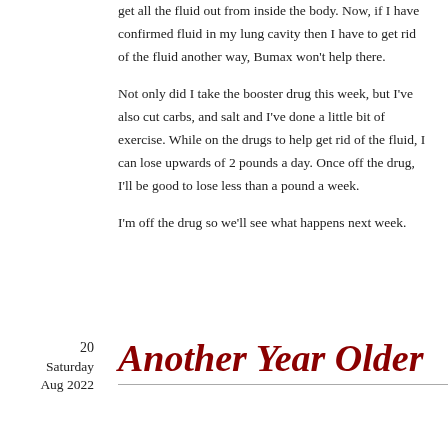get all the fluid out from inside the body. Now, if I have confirmed fluid in my lung cavity then I have to get rid of the fluid another way, Bumax won't help there.
Not only did I take the booster drug this week, but I've also cut carbs, and salt and I've done a little bit of exercise. While on the drugs to help get rid of the fluid, I can lose upwards of 2 pounds a day. Once off the drug, I'll be good to lose less than a pound a week.
I'm off the drug so we'll see what happens next week.
Another Year Older
20 Saturday Aug 2022
Posted by Tim Hughes Living with CML in Cancer, Weight Loss
= Leave a comment